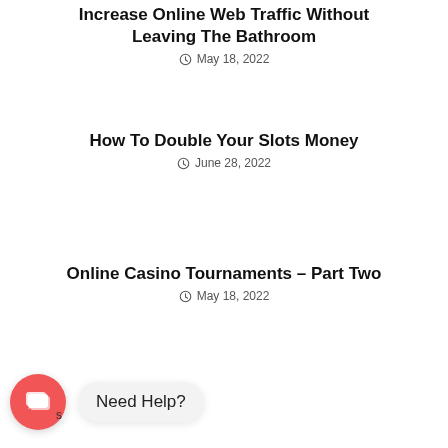Increase Online Web Traffic Without Leaving The Bathroom
May 18, 2022
How To Double Your Slots Money
June 28, 2022
Online Casino Tournaments – Part Two
May 18, 2022
[Figure (other): Chat widget with red circular button showing overlapping speech bubbles icon and 'Need Help?' bubble tooltip]